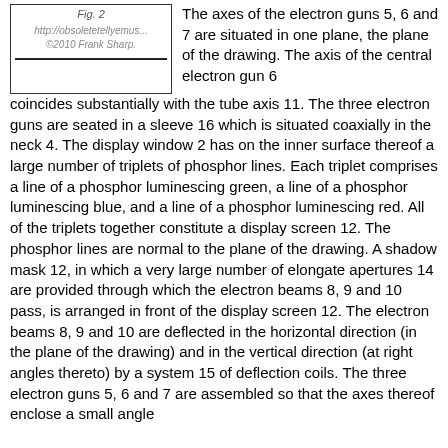[Figure (illustration): Figure 2 placeholder box with URL http://obsoletetellyemus... and copyright ©2010 Frank Sharp, with a horizontal rule at the bottom.]
The axes of the electron guns 5, 6 and 7 are situated in one plane, the plane of the drawing. The axis of the central electron gun 6 coincides substantially with the tube axis 11. The three electron guns are seated in a sleeve 16 which is situated coaxially in the neck 4. The display window 2 has on the inner surface thereof a large number of triplets of phosphor lines. Each triplet comprises a line of a phosphor luminescing green, a line of a phosphor luminescing blue, and a line of a phosphor luminescing red. All of the triplets together constitute a display screen 12. The phosphor lines are normal to the plane of the drawing. A shadow mask 12, in which a very large number of elongate apertures 14 are provided through which the electron beams 8, 9 and 10 pass, is arranged in front of the display screen 12. The electron beams 8, 9 and 10 are deflected in the horizontal direction (in the plane of the drawing) and in the vertical direction (at right angles thereto) by a system 15 of deflection coils. The three electron guns 5, 6 and 7 are assembled so that the axes thereof enclose a small angle